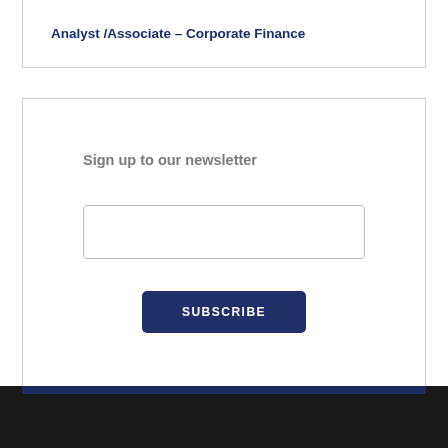Analyst /Associate – Corporate Finance
Sign up to our newsletter
[email input field]
SUBSCRIBE